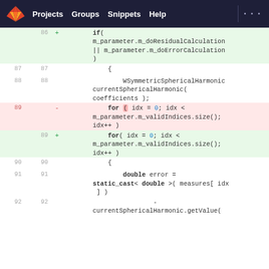GitLab navigation: Projects | Groups | Snippets | Help
[Figure (screenshot): Code diff view showing lines 86-92 of a C++ file. Line 86 is an added line with 'if( m_parameter.m_doResidualCalculation || m_parameter.m_doErrorCalculation )'. Lines 87-88 show unchanged code with a block open and WSymmetricSphericalHarmonic currentSphericalHarmonic( coefficients );. Line 89 (old) is removed with 'for ( idx = 0; idx < m_parameter.m_validIndices.size(); idx++ )'. Line 89 (new) is added with 'for( idx = 0; idx < m_parameter.m_validIndices.size(); idx++ )'. Lines 90-92 show unchanged code.]